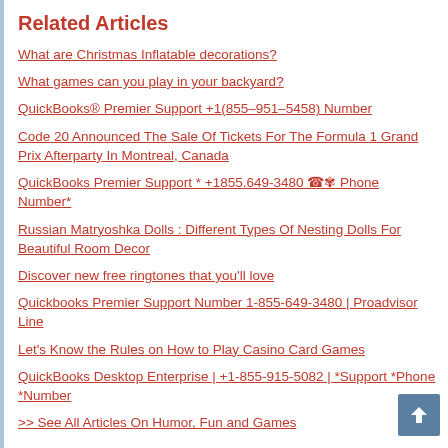Related Articles
What are Christmas Inflatable decorations?
What games can you play in your backyard?
QuickBooks® Premier Support +1(855–951–5458) Number
Code 20 Announced The Sale Of Tickets For The Formula 1 Grand Prix Afterparty In Montreal, Canada
QuickBooks Premier Support * +1855.649-3480 ☎✾ Phone Number*
Russian Matryoshka Dolls : Different Types Of Nesting Dolls For Beautiful Room Decor
Discover new free ringtones that you'll love
Quickbooks Premier Support Number 1-855-649-3480 | Proadvisor Line
Let's Know the Rules on How to Play Casino Card Games
QuickBooks Desktop Enterprise | +1-855-915-5082 | *Support *Phone *Number
>> See All Articles On Humor, Fun and Games